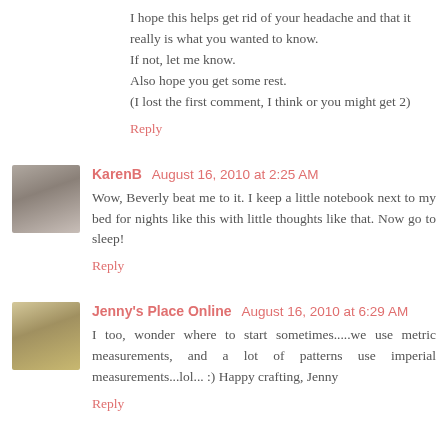I hope this helps get rid of your headache and that it really is what you wanted to know.
If not, let me know.
Also hope you get some rest.
(I lost the first comment, I think or you might get 2)
Reply
KarenB  August 16, 2010 at 2:25 AM
Wow, Beverly beat me to it. I keep a little notebook next to my bed for nights like this with little thoughts like that. Now go to sleep!
Reply
Jenny's Place Online  August 16, 2010 at 6:29 AM
I too, wonder where to start sometimes.....we use metric measurements, and a lot of patterns use imperial measurements...lol... :) Happy crafting, Jenny
Reply